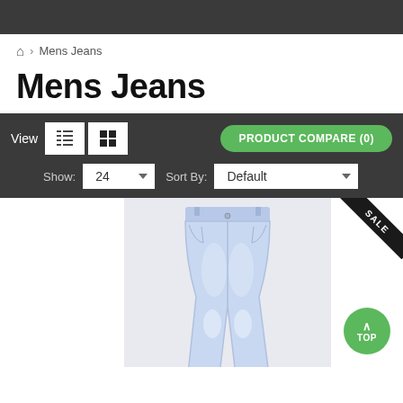Home > Mens Jeans
Mens Jeans
View [list icon] [grid icon] PRODUCT COMPARE (0) Show: 24 Sort By: Default
[Figure (photo): Light blue straight-leg mens jeans displayed on white/light lavender background with SALE badge in top right corner]